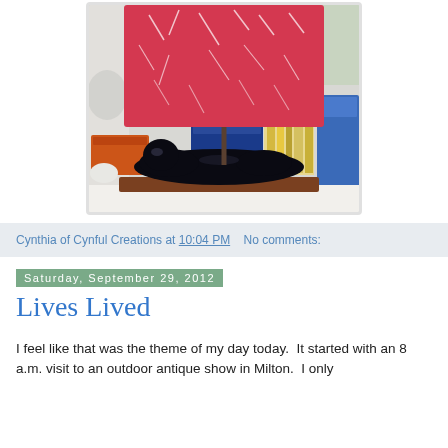[Figure (photo): A black ceramic panther lamp with a red/pink lamp shade, sitting on a wood plank base at an outdoor antique show. An orange box and blue boxes are visible in the background.]
Cynthia of Cynful Creations at 10:04 PM   No comments:
Saturday, September 29, 2012
Lives Lived
I feel like that was the theme of my day today.  It started with an 8 a.m. visit to an outdoor antique show in Milton.  I only